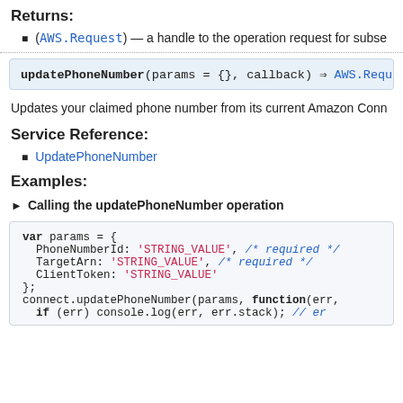Returns:
(AWS.Request) — a handle to the operation request for subse
updatePhoneNumber(params = {}, callback) ⇒ AWS.Requ
Updates your claimed phone number from its current Amazon Conn
Service Reference:
UpdatePhoneNumber
Examples:
► Calling the updatePhoneNumber operation
var params = {
  PhoneNumberId: 'STRING_VALUE', /* required */
  TargetArn: 'STRING_VALUE', /* required */
  ClientToken: 'STRING_VALUE'
};
connect.updatePhoneNumber(params, function(err,
  if (err) console.log(err, err.stack); // er